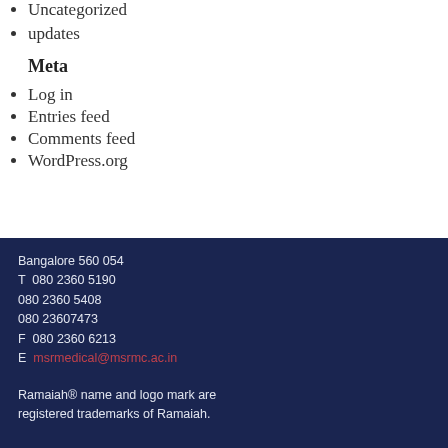Uncategorized
updates
Meta
Log in
Entries feed
Comments feed
WordPress.org
Bangalore 560 054
T  080 2360 5190
080 2360 5408
080 23607473
F  080 2360 6213
E  msrmedical@msrmc.ac.in
Ramaiah® name and logo mark are registered trademarks of Ramaiah.